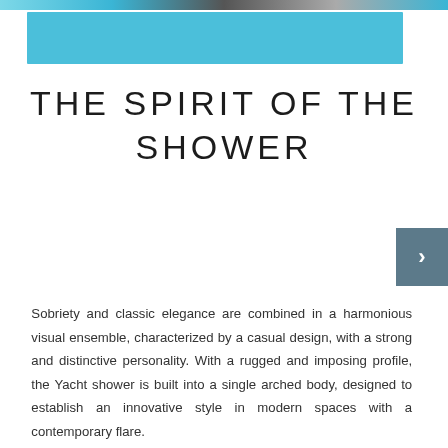[Figure (photo): Top decorative photo/image bar cropped at the top edge, teal/blue color]
[Figure (other): Solid light blue horizontal bar beneath the top image]
THE SPIRIT OF THE SHOWER
Sobriety and classic elegance are combined in a harmonious visual ensemble, characterized by a casual design, with a strong and distinctive personality. With a rugged and imposing profile, the Yacht shower is built into a single arched body, designed to establish an innovative style in modern spaces with a contemporary flare.